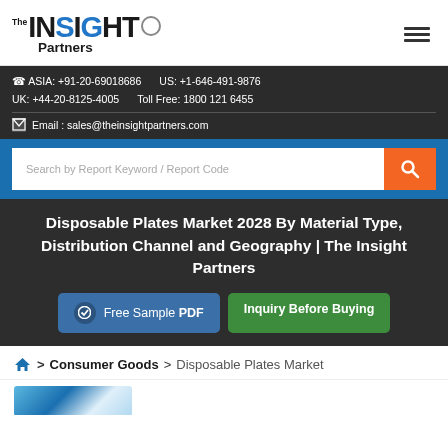[Figure (logo): The Insight Partners logo with hamburger menu icon on right]
ASIA: +91-20-69018686   US: +1-646-491-9876   UK: +44-20-8125-4005   Toll Free: 1800 121 6455   Email: sales@theinsightpartners.com
Search by Report Keyword / Report Code
Disposable Plates Market 2028 By Material Type, Distribution Channel and Geography | The Insight Partners
Free Sample PDF   Inquiry Before Buying
Home > Consumer Goods > Disposable Plates Market
[Figure (photo): Partial product photo at bottom of page]